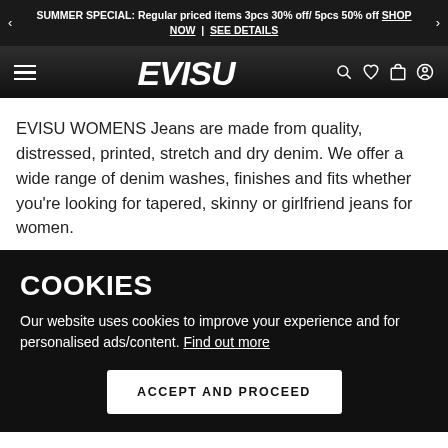SUMMER SPECIAL: Regular priced items 3pcs 30% off/ 5pcs 50% off SHOP NOW | SEE DETAILS
[Figure (logo): EVISU brand logo in bold italic white lettering on dark gradient navbar with hamburger menu icon on left and search, wishlist, bag, account icons on right]
EVISU WOMENS Jeans are made from quality, distressed, printed, stretch and dry denim. We offer a wide range of denim washes, finishes and fits whether you're looking for tapered, skinny or girlfriend jeans for women.
COOKIES
Our website uses cookies to improve your experience and for personalised ads/content. Find out more
ACCEPT AND PROCEED